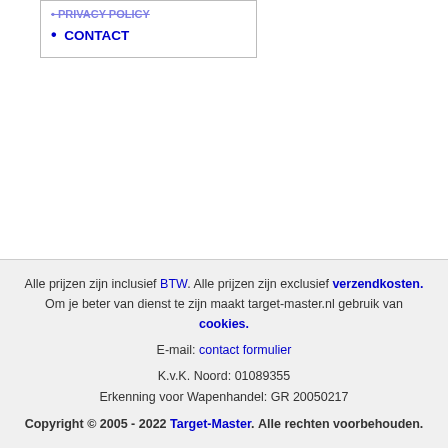• CONTACT
Alle prijzen zijn inclusief BTW. Alle prijzen zijn exclusief verzendkosten. Om je beter van dienst te zijn maakt target-master.nl gebruik van cookies. E-mail: contact formulier K.v.K. Noord: 01089355 Erkenning voor Wapenhandel: GR 20050217 Copyright © 2005 - 2022 Target-Master. Alle rechten voorbehouden.